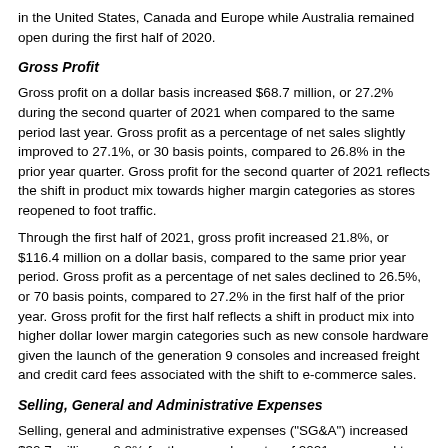in the United States, Canada and Europe while Australia remained open during the first half of 2020.
Gross Profit
Gross profit on a dollar basis increased $68.7 million, or 27.2% during the second quarter of 2021 when compared to the same period last year. Gross profit as a percentage of net sales slightly improved to 27.1%, or 30 basis points, compared to 26.8% in the prior year quarter. Gross profit for the second quarter of 2021 reflects the shift in product mix towards higher margin categories as stores reopened to foot traffic.
Through the first half of 2021, gross profit increased 21.8%, or $116.4 million on a dollar basis, compared to the same prior year period. Gross profit as a percentage of net sales declined to 26.5%, or 70 basis points, compared to 27.2% in the first half of the prior year. Gross profit for the first half reflects a shift in product mix into higher dollar lower margin categories such as new console hardware given the launch of the generation 9 consoles and increased freight and credit card fees associated with the shift to e-commerce sales.
Selling, General and Administrative Expenses
Selling, general and administrative expenses ("SG&A") increased $30.7 million or 8.8% for the second quarter of 2021, compared to the same prior year period. Through the first half of 2021, SG&A expenses increased $14.5 million or 2.0% compared to the same prior year period. SG&A expenses increased as a result of the impact the COVID-19 pandemic had on our store expenses in prior year as